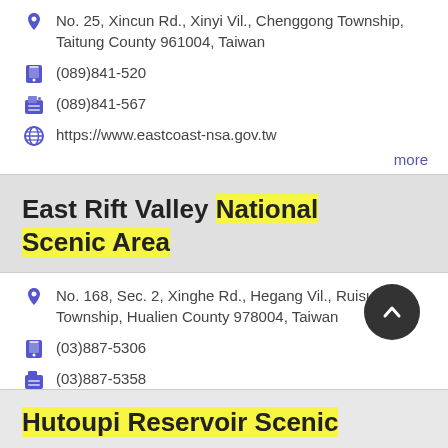No. 25, Xincun Rd., Xinyi Vil., Chenggong Township, Taitung County 961004, Taiwan
(089)841-520
(089)841-567
https://www.eastcoast-nsa.gov.tw
more
East Rift Valley National Scenic Area
No. 168, Sec. 2, Xinghe Rd., Hegang Vil., Ruisui Township, Hualien County 978004, Taiwan
(03)887-5306
(03)887-5358
https://www.erv-nsa.gov.tw/
more
Hutoupi Reservoir Scenic